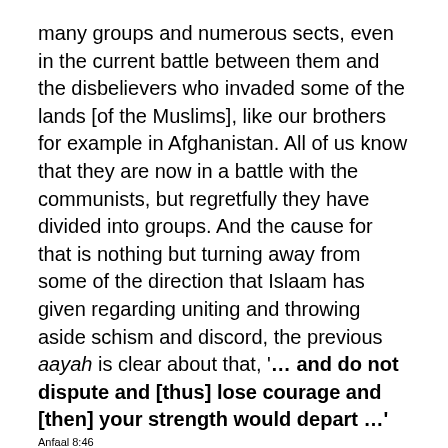many groups and numerous sects, even in the current battle between them and the disbelievers who invaded some of the lands [of the Muslims], like our brothers for example in Afghanistan. All of us know that they are now in a battle with the communists, but regretfully they have divided into groups. And the cause for that is nothing but turning away from some of the direction that Islaam has given regarding uniting and throwing aside schism and discord, the previous aayah is clear about that, '… and do not dispute and [thus] lose courage and [then] your strength would depart …' Anfaal 8:46.
I say: this differing and conflict did not stop at the borders of those countries far from us, but rather it has reached us too.
And we Salafis who claim that we cling to the Book and the authentic Sunnah, we are not to injecting the forms of